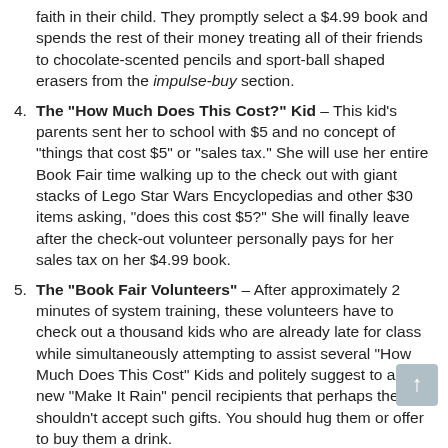faith in their child. They promptly select a $4.99 book and spends the rest of their money treating all of their friends to chocolate-scented pencils and sport-ball shaped erasers from the impulse-buy section.
The "How Much Does This Cost?" Kid – This kid's parents sent her to school with $5 and no concept of "things that cost $5" or "sales tax." She will use her entire Book Fair time walking up to the check out with giant stacks of Lego Star Wars Encyclopedias and other $30 items asking, "does this cost $5?" She will finally leave after the check-out volunteer personally pays for her sales tax on her $4.99 book.
The "Book Fair Volunteers" – After approximately 2 minutes of system training, these volunteers have to check out a thousand kids who are already late for class while simultaneously attempting to assist several "How Much Does This Cost" Kids and politely suggest to all the new "Make It Rain" pencil recipients that perhaps they shouldn't accept such gifts. You should hug them or offer to buy them a drink.
The "We Can Get This Cheaper at Amazon.com" Parent – This parent slowly chips away every bit o